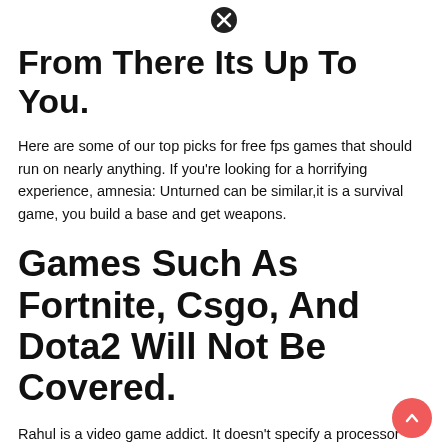[Figure (other): Close/cancel icon (circle with X) centered at top]
From There Its Up To You.
Here are some of our top picks for free fps games that should run on nearly anything. If you’re looking for a horrifying experience, amnesia: Unturned can be similar,it is a survival game, you build a base and get weapons.
Games Such As Fortnite, Csgo, And Dota2 Will Not Be Covered.
Rahul is a video game addict. It doesn’t specify a processor beyond a 2 ghz mⓧmum. Very controversial in